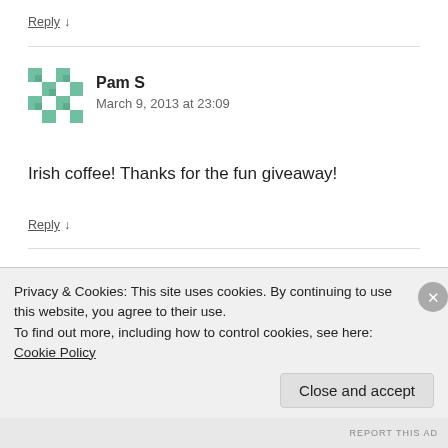Reply ↓
[Figure (illustration): Green/white mosaic avatar for Pam S]
Pam S
March 9, 2013 at 23:09
Irish coffee! Thanks for the fun giveaway!
Reply ↓
[Figure (illustration): Purple pixelated avatar for next commenter]
Privacy & Cookies: This site uses cookies. By continuing to use this website, you agree to their use.
To find out more, including how to control cookies, see here: Cookie Policy
Close and accept